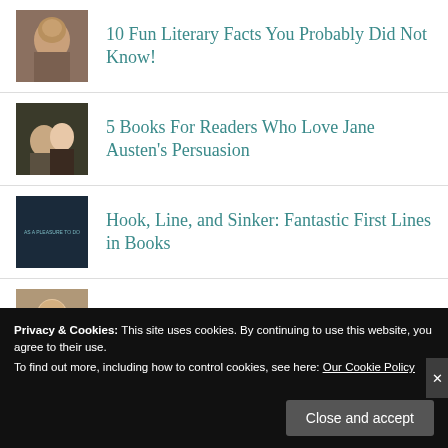10 Fun Literary Facts You Probably Did Not Know!
5 Books For Readers Who Love Jane Austen's Persuasion
Hook, Line, and Sinker: Fantastic First Lines in Books
6 YA Tropes That Make Us Angsty
Privacy & Cookies: This site uses cookies. By continuing to use this website, you agree to their use. To find out more, including how to control cookies, see here: Our Cookie Policy
Close and accept